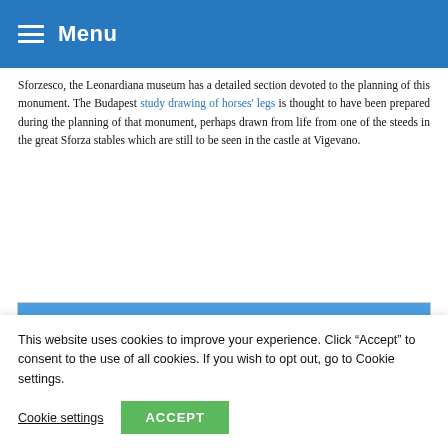Menu
Sforzesco, the Leonardiana museum has a detailed section devoted to the planning of this monument. The Budapest study drawing of horses' legs is thought to have been prepared during the planning of that monument, perhaps drawn from life from one of the steeds in the great Sforza stables which are still to be seen in the castle at Vigevano.
[Figure (photo): Photograph showing a clear blue sky with a small white cloud near the bottom edge.]
This website uses cookies to improve your experience. Click “Accept” to consent to the use of all cookies. If you wish to opt out, go to Cookie settings.
Cookie settings  ACCEPT